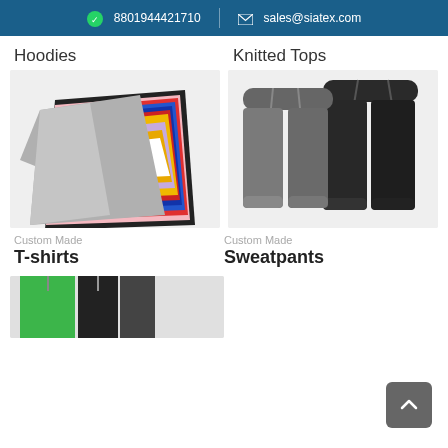8801944421710  sales@siatex.com
Hoodies
Knitted Tops
[Figure (photo): Stack of colorful long-sleeve t-shirts/hoodies in various colors including grey, white, yellow, red, blue, pink, black]
[Figure (photo): Two pairs of grey and black sweatpants with drawstring waistbands]
Custom Made
Custom Made
T-shirts
Sweatpants
[Figure (photo): Colorful t-shirts on hangers, including green and black, partially visible at bottom of page]